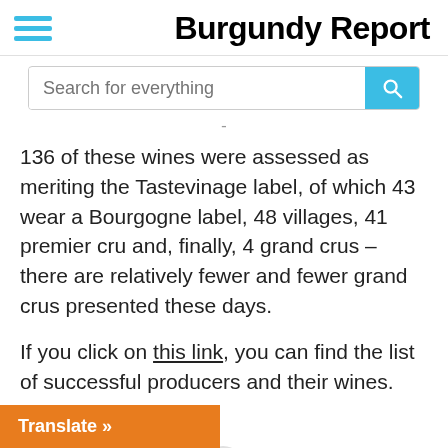Burgundy Report
136 of these wines were assessed as meriting the Tastevinage label, of which 43 wear a Bourgogne label, 48 villages, 41 premier cru and, finally, 4 grand crus – there are relatively fewer and fewer grand crus presented these days.
If you click on this link, you can find the list of successful producers and their wines.
Share this: